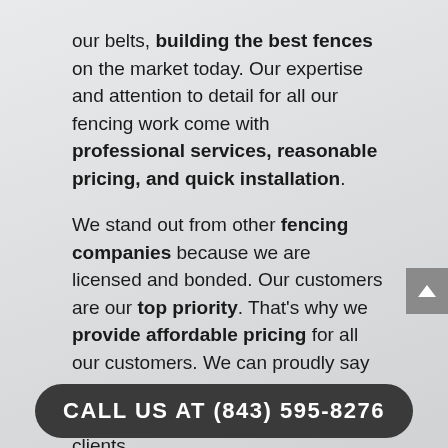our belts, building the best fences on the market today. Our expertise and attention to detail for all our fencing work come with professional services, reasonable pricing, and quick installation.
We stand out from other fencing companies because we are licensed and bonded. Our customers are our top priority. That's why we provide affordable pricing for all our customers. We can proudly say that all our full-time employees are courteous and respectful of our clients.
CALL US AT (843) 595-8276